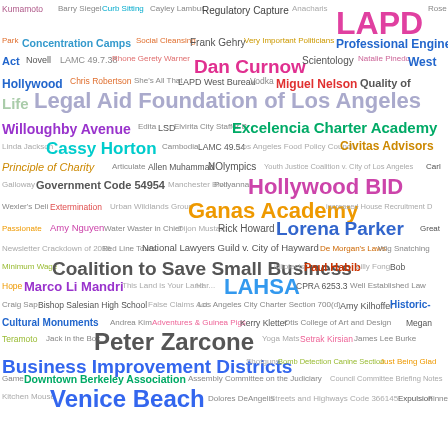[Figure (infographic): Word cloud featuring terms related to Los Angeles government, legal, and community topics. Larger words appear more prominently. Terms include: LAPD, Legal Aid Foundation of Los Angeles, Hollywood BID, Ganas Academy, Lorena Parker, Coalition to Save Small Business, LAHSA, Business Improvement Districts, Peter Zarcone, Venice Beach, and many others in various colors and sizes.]